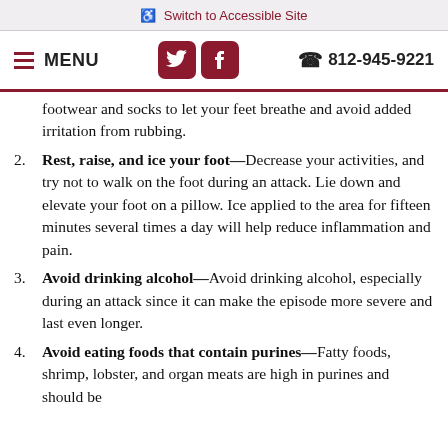Switch to Accessible Site
MENU  812-945-9221
footwear and socks to let your feet breathe and avoid added irritation from rubbing.
Rest, raise, and ice your foot—Decrease your activities, and try not to walk on the foot during an attack. Lie down and elevate your foot on a pillow. Ice applied to the area for fifteen minutes several times a day will help reduce inflammation and pain.
Avoid drinking alcohol—Avoid drinking alcohol, especially during an attack since it can make the episode more severe and last even longer.
Avoid eating foods that contain purines—Fatty foods, shrimp, lobster, and organ meats are high in purines and should be